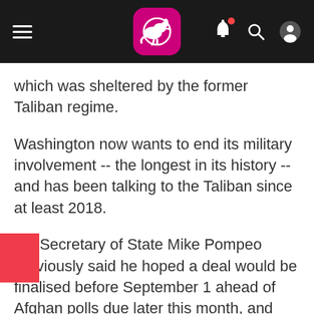App navigation header with logo, hamburger menu, bell notification, search, and user icons
which was sheltered by the former Taliban regime.
Washington now wants to end its military involvement -- the longest in its history -- and has been talking to the Taliban since at least 2018.
US Secretary of State Mike Pompeo previously said he hoped a deal would be finalised before September 1 ahead of Afghan polls due later this month, and next year's US presidential vote.